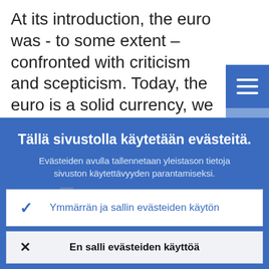At its introduction, the euro was - to some extent – confronted with criticism and scepticism. Today, the euro is a solid currency, we – the ECB – have delivered on our primary objective to maintain price stability and the euro has found all…
Tällä sivustolla käytetään evästeitä.
Evästeiden avulla tallennetaan yleistason tietoja sivuston käytettävyyden parantamiseksi.
› Lisätietoja evästeiden käytöstä
✓ Ymmärrän ja sallin evästeiden käytön
✕ En salli evästeiden käyttöä